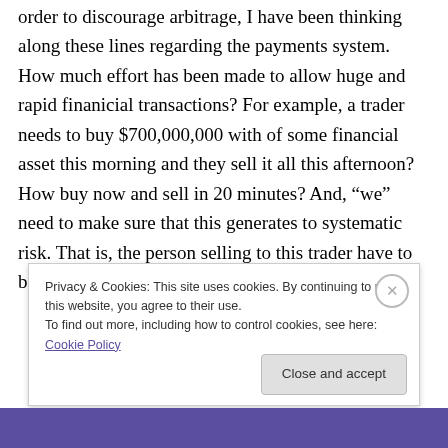order to discourage arbitrage, I have been thinking along these lines regarding the payments system. How much effort has been made to allow huge and rapid finanicial transactions? For example, a trader needs to buy $700,000,000 with of some financial asset this morning and they sell it all this afternoon? How buy now and sell in 20 minutes? And, “we” need to make sure that this generates to systematic risk. That is, the person selling to this trader have to be able to use the receipts to
Privacy & Cookies: This site uses cookies. By continuing to use this website, you agree to their use.
To find out more, including how to control cookies, see here: Cookie Policy
Close and accept